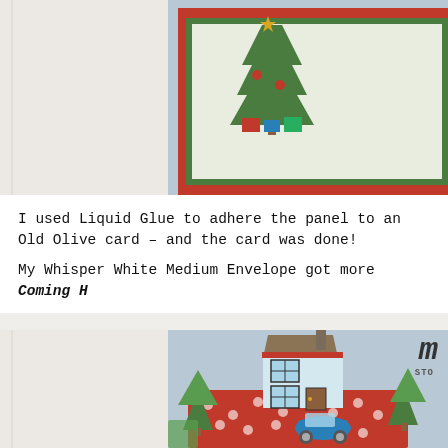[Figure (photo): Top portion of a handmade holiday card with red border on light blue background, showing Christmas tree and decorative elements, cropped at top]
I used Liquid Glue to adhere the panel to an Old Olive card – and the card was done!

My Whisper White Medium Envelope got more Coming H...
[Figure (photo): Bottom portion showing a handmade Christmas card/envelope with illustrated house, green Christmas trees, blue car, red polka dot base, and decorative elements on light blue background. Partial text 'm' visible top right.]